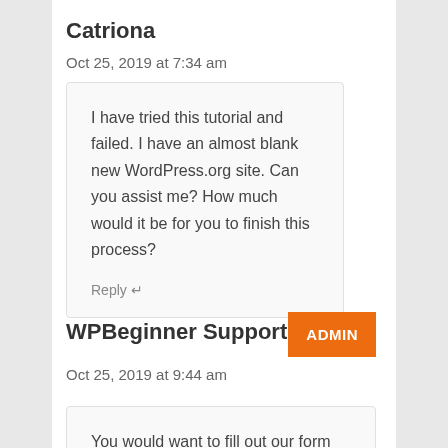Catriona
Oct 25, 2019 at 7:34 am
I have tried this tutorial and failed. I have an almost blank new WordPress.org site. Can you assist me? How much would it be for you to finish this process?
Reply
WPBeginner Support
ADMIN
Oct 25, 2019 at 9:44 am
You would want to fill out our form here: